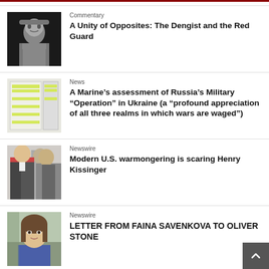Commentary — A Unity of Opposites: The Dengist and the Red Guard
News — A Marine’s assessment of Russia’s Military “Operation” in Ukraine (a “profound appreciation of all three realms in which wars are waged”)
Newswire — Modern U.S. warmongering is scaring Henry Kissinger
Newswire — LETTER FROM FAINA SAVENKOVA TO OLIVER STONE